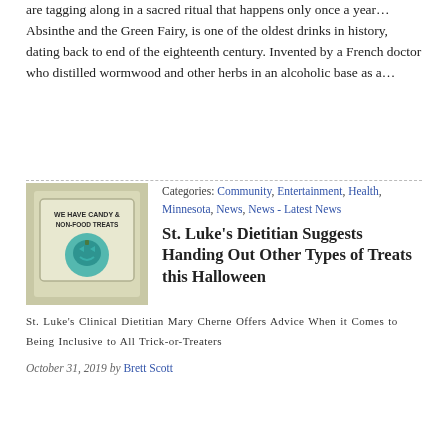are tagging along in a sacred ritual that happens only once a year… Absinthe and the Green Fairy, is one of the oldest drinks in history, dating back to end of the eighteenth century. Invented by a French doctor who distilled wormwood and other herbs in an alcoholic base as a…
[Figure (photo): A teal pumpkin sign reading 'WE HAVE CANDY & NON-FOOD TREATS' with a teal jack-o-lantern illustration]
Categories: Community, Entertainment, Health, Minnesota, News, News - Latest News
St. Luke's Dietitian Suggests Handing Out Other Types of Treats this Halloween
St. Luke's Clinical Dietitian Mary Cherne Offers Advice When it Comes to Being Inclusive to All Trick-or-Treaters
October 31, 2019 by Brett Scott